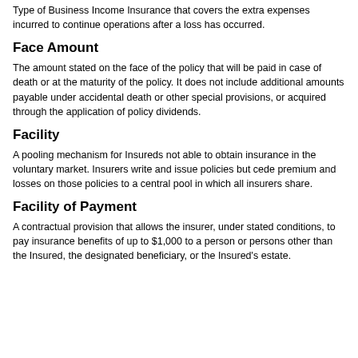Type of Business Income Insurance that covers the extra expenses incurred to continue operations after a loss has occurred.
Face Amount
The amount stated on the face of the policy that will be paid in case of death or at the maturity of the policy. It does not include additional amounts payable under accidental death or other special provisions, or acquired through the application of policy dividends.
Facility
A pooling mechanism for Insureds not able to obtain insurance in the voluntary market. Insurers write and issue policies but cede premium and losses on those policies to a central pool in which all insurers share.
Facility of Payment
A contractual provision that allows the insurer, under stated conditions, to pay insurance benefits of up to $1,000 to a person or persons other than the Insured, the designated beneficiary, or the Insured's estate.